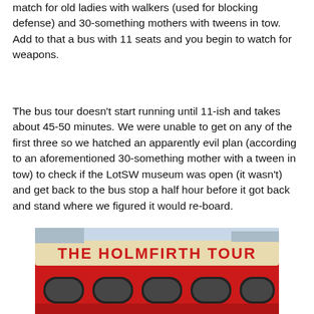match for old ladies with walkers (used for blocking defense) and 30-something mothers with tweens in tow. Add to that a bus with 11 seats and you begin to watch for weapons.
The bus tour doesn't start running until 11-ish and takes about 45-50 minutes. We were unable to get on any of the first three so we hatched an apparently evil plan (according to an aforementioned 30-something mother with a tween in tow) to check if the LotSW museum was open (it wasn't) and get back to the bus stop a half hour before it got back and stand where we figured it would re-board.
[Figure (photo): Photo of a red double-decker bus with a sign reading 'THE HOLMFIRTH TOUR' on the upper front panel. The bus has rounded windows visible on its side.]